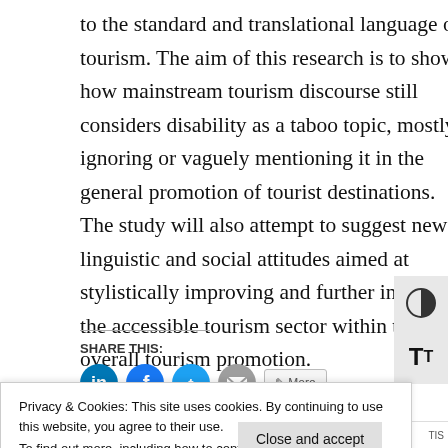to the standard and translational language of tourism. The aim of this research is to show how mainstream tourism discourse still considers disability as a taboo topic, mostly ignoring or vaguely mentioning it in the general promotion of tourist destinations. The study will also attempt to suggest new linguistic and social attitudes aimed at stylistically improving and further including the accessible tourism sector within the overall tourism promotion.
SHARE THIS:
[Figure (other): Social share icons: LinkedIn, Facebook, Twitter, Email, and a More button]
[Figure (other): Accessibility toggle buttons on right side: contrast toggle and font size toggle (TT)]
Privacy & Cookies: This site uses cookies. By continuing to use this website, you agree to their use. To find out more, including how to control cookies, see here: Cookie Policy
Close and accept
Promotional material